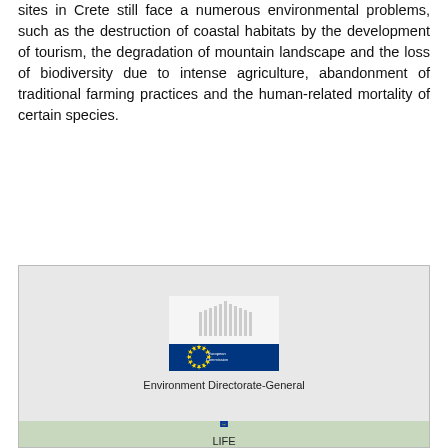sites in Crete still face a numerous environmental problems, such as the destruction of coastal habitats by the development of tourism, the degradation of mountain landscape and the loss of biodiversity due to intense agriculture, abandonment of traditional farming practices and the human-related mortality of certain species.
[Figure (logo): European Commission logo with blue bar and EU flag stars, with text 'European Commission' below]
Environment Directorate-General
[Figure (logo): LIFE programme logo — dark blue background with EU ring of yellow stars and cursive 'Life' text in yellow/white]
LIFE